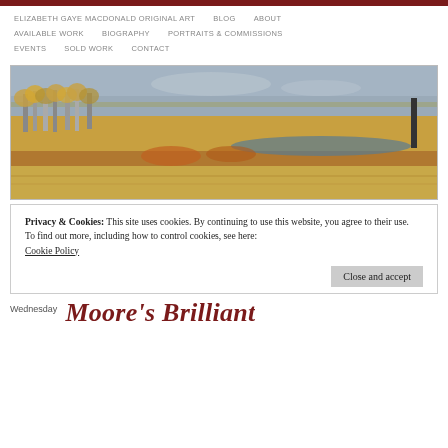ELIZABETH GAYE MACDONALD ORIGINAL ART   BLOG   ABOUT   AVAILABLE WORK   BIOGRAPHY   PORTRAITS & COMMISSIONS   EVENTS   SOLD WORK   CONTACT
[Figure (photo): Landscape painting of a marsh or prairie scene with autumn trees on the left, golden grasses in the foreground, a body of water in the middle distance, and a grey-blue sky above.]
Privacy & Cookies: This site uses cookies. By continuing to use this website, you agree to their use.
To find out more, including how to control cookies, see here:
Cookie Policy
Close and accept
Wednesday